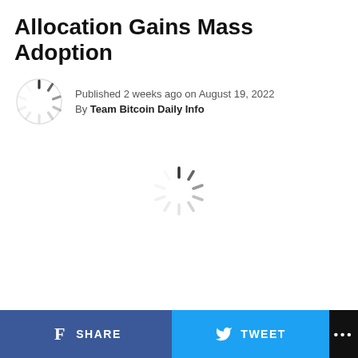Allocation Gains Mass Adoption
Published 2 weeks ago on August 19, 2022
By Team Bitcoin Daily Info
[Figure (illustration): Loading spinner / circular throbber icon in center of page]
SHARE  TWEET  ...